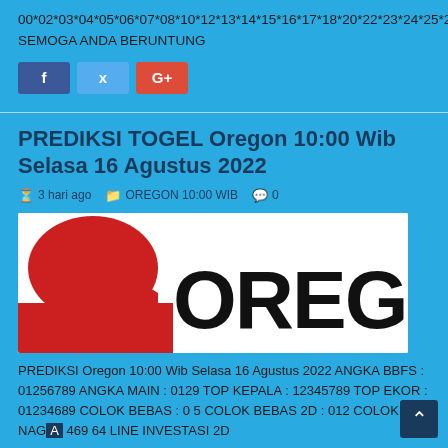00*02*03*04*05*06*07*08*10*12*13*14*15*16*17*18*20*22*23*24*25*26*27*28*30*32*33*34*35*36*37*38*50*52*53*54*55*56*57*58*60*62*63*64*65*66*67*68*70*72*73*74*75*76*77*78*90*92*93*94*95*96*97*98 SEMOGA ANDA BERUNTUNG
[Figure (other): Social share buttons: Facebook (blue), Twitter (light blue), Google+ (red)]
PREDIKSI TOGEL Oregon 10:00 Wib Selasa 16 Agustus 2022
3 hari ago   OREGON 10:00 WIB   0
[Figure (photo): Oregon lottery article thumbnail image — white background with red graphic on left and large black text 'OREG' on right]
PREDIKSI Oregon 10:00 Wib Selasa 16 Agustus 2022 ANGKA BBFS : 01256789 ANGKA MAIN : 0129 TOP KEPALA : 12345789 TOP EKOR : 01234689 COLOK BEBAS : 0 5 COLOK BEBAS 2D : 012 COLOK NAGA : 469 64 LINE INVESTASI 2D